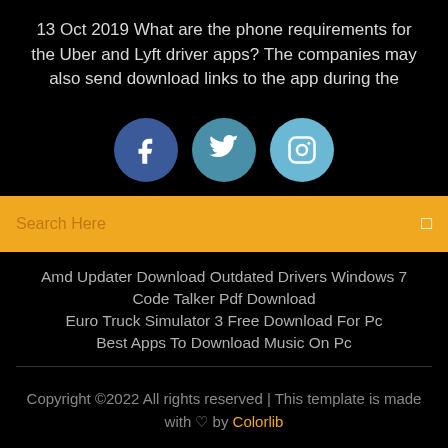13 Oct 2019 What are the phone requirements for the Uber and Lyft driver apps? The companies may also send download links to the app during the
[Figure (illustration): Three social media icon circles: Facebook (dark blue), Twitter (medium blue), Instagram (light blue)]
Search Here
Amd Updater Download Outdated Drivers Windows 7
Code Talker Pdf Download
Euro Truck Simulator 3 Free Download For Pc
Best Apps To Download Music On Pc
Copyright ©2022 All rights reserved | This template is made with ♡ by Colorlib